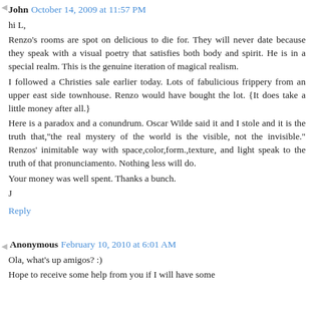John October 14, 2009 at 11:57 PM
hi L,
Renzo's rooms are spot on delicious to die for. They will never date because they speak with a visual poetry that satisfies both body and spirit. He is in a special realm. This is the genuine iteration of magical realism.
I followed a Christies sale earlier today. Lots of fabulicious frippery from an upper east side townhouse. Renzo would have bought the lot. {It does take a little money after all.}
Here is a paradox and a conundrum. Oscar Wilde said it and I stole and it is the truth that,"the real mystery of the world is the visible, not the invisible." Renzos' inimitable way with space,color,form.,texture, and light speak to the truth of that pronunciamento. Nothing less will do.
Your money was well spent. Thanks a bunch.
J
Reply
Anonymous February 10, 2010 at 6:01 AM
Ola, what's up amigos? :)
Hope to receive some help from you if I will have some